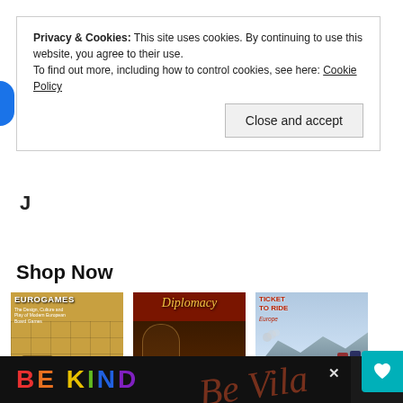Privacy & Cookies: This site uses cookies. By continuing to use this website, you agree to their use.
To find out more, including how to control cookies, see here: Cookie Policy
Close and accept
Shop Now
[Figure (photo): Eurogames: The Design, Culture and Play of Modern European Board Games book cover]
Eurogames: The Design, Culture and ...
$13.49
★★★☆☆ (30)
[Figure (photo): Hasbro Gaming Avalon Hill Diplomacy Co... board game box cover]
Hasbro Gaming Avalon Hill Diplomacy Co...
$19.07 ✓prime
★★★★☆ (142)
[Figure (photo): Ticket to Ride Europe board game box cover]
Ticket to Ride B... Board Game | Fami...
$47.98 ✓prime
★★★★★ (12435)
[Figure (illustration): BE KIND colorful advertisement banner at bottom of page]